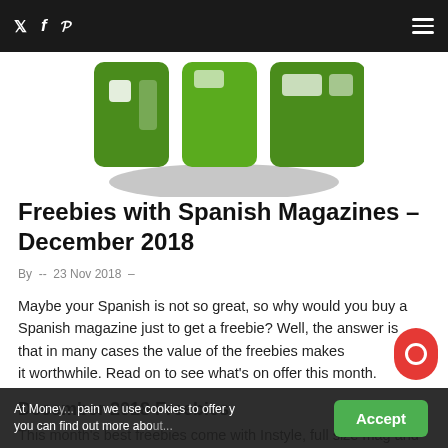twitter facebook pinterest [menu]
[Figure (logo): Green logo letters on white background, partially cropped at top]
Freebies with Spanish Magazines – December 2018
By  --  23 Nov 2018  –
Maybe your Spanish is not so great, so why would you buy a Spanish magazine just to get a freebie? Well, the answer is that in many cases the value of the freebies makes it worthwhile. Read on to see what's on offer this month.
December 2018 Freebies
This month's best freebies come with Instyle, full size mag and
At Mone[y...] pain we use cookies to offer y[ou...] you can find out more abo[ut...]